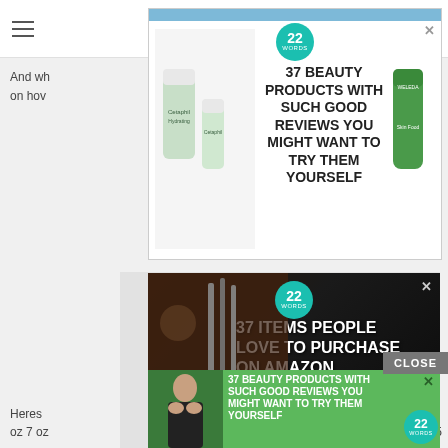[Figure (screenshot): Website page with navigation hamburger menu icon and search icon in top bar]
And wh... eye
on hov...
[Figure (screenshot): Advertisement: 37 BEAUTY PRODUCTS WITH SUCH GOOD REVIEWS YOU MIGHT WANT TO TRY THEM YOURSELF, with 22 WORDS badge, Cetaphil and Weleda products shown. X close button.]
[Figure (screenshot): Grey placeholder advertisement area]
[Figure (screenshot): Advertisement: 37 ITEMS PEOPLE LOVE TO PURCHASE ON AMAZON with 22 WORDS badge. Background shows kitchen knives, ingredients. X close button.]
[Figure (screenshot): CLOSE button in grey]
[Figure (screenshot): Advertisement: 37 BEAUTY PRODUCTS WITH SUCH GOOD REVIEWS YOU MIGHT WANT TO TRY THEM YOURSELF on green background with woman applying face mask and 22 WORDS badge. X close button.]
Heres ... in 3.5
oz 7 oz...